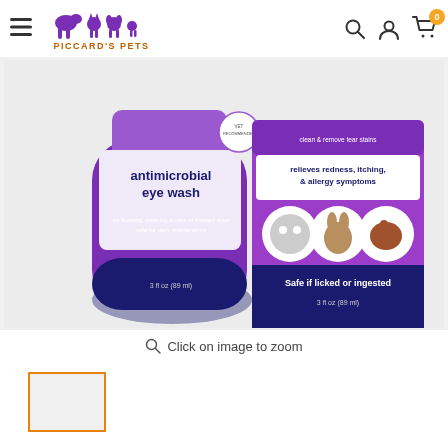Piccard's Pets - Navigation bar with hamburger menu, logo, search, account, and cart icons
[Figure (photo): Product photo of antimicrobial eye wash bottle (3 fl oz / 89 ml) by Piccards Pets, purple and blue bottle, with product box showing 'relieves redness, itching, & allergy symptoms', images of cat, rabbit, horse, 'Safe if licked or ingested', '3 fl oz (89 ml)'. Text on bottle: 'antimicrobial eye wash', 'for flushing, cleaning & care of irritated eyes safe for daily maintenance'.]
Click on image to zoom
[Figure (photo): Small thumbnail image of the same product, selected (highlighted with orange border)]